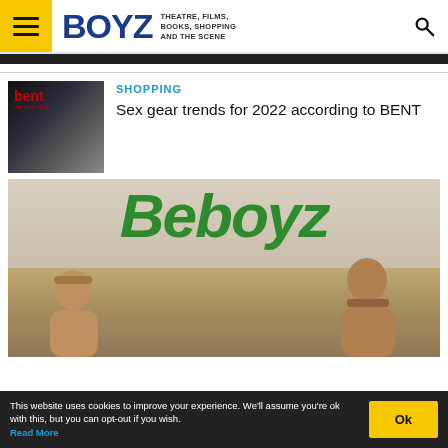BOYZ — THEATRE, FILMS, BOOKS, SHOPPING AND THE SCENE
[Figure (photo): Thumbnail image for article about Bent sex shop]
SHOPPING
Sex gear trends for 2022 according to BENT
[Figure (photo): Beboyz advertisement banner showing two men on a beach with green Beboyz logo text]
This website uses cookies to improve your experience. We'll assume you're ok with this, but you can opt-out if you wish. Read More